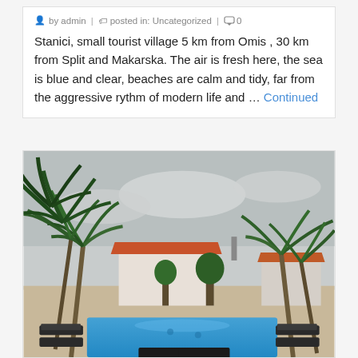by admin | posted in: Uncategorized | 0
Stanici, small tourist village 5 km from Omis , 30 km from Split and Makarska. The air is fresh here, the sea is blue and clear, beaches are calm and tidy, far from the aggressive rythm of modern life and … Continued
[Figure (photo): Outdoor swimming pool surrounded by palm trees and lounge chairs, with buildings featuring orange/red tile roofs in the background under a cloudy sky.]